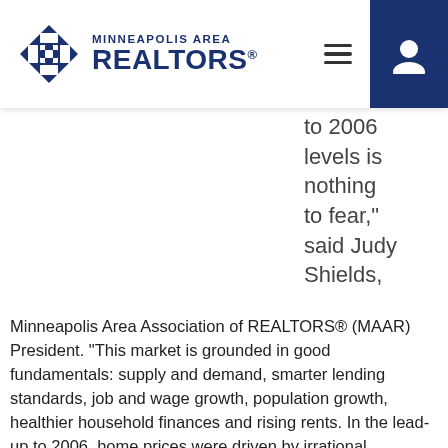[Figure (logo): Minneapolis Area REALTORS logo with diamond cross emblem and text]
to 2006 levels is nothing to fear," said Judy Shields,
Minneapolis Area Association of REALTORS® (MAAR) President. “This market is grounded in good fundamentals: supply and demand, smarter lending standards, job and wage growth, population growth, healthier household finances and rising rents. In the lead-up to 2006, home prices were driven by irrational exuberance and lax lending standards.”